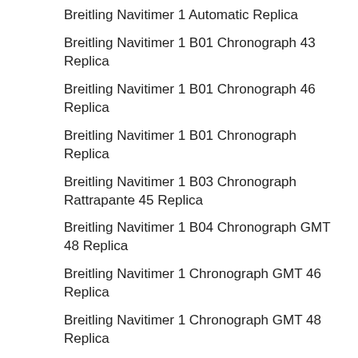Breitling Navitimer 1 Automatic Replica
Breitling Navitimer 1 B01 Chronograph 43 Replica
Breitling Navitimer 1 B01 Chronograph 46 Replica
Breitling Navitimer 1 B01 Chronograph Replica
Breitling Navitimer 1 B03 Chronograph Rattrapante 45 Replica
Breitling Navitimer 1 B04 Chronograph GMT 48 Replica
Breitling Navitimer 1 Chronograph GMT 46 Replica
Breitling Navitimer 1 Chronograph GMT 48 Replica
Breitling Navitimer 8 Automatic Day Date Replica
Breitling Navitimer 8 Automatic Replica
Breitling Navitimer 8 B35 Automatic Unitime 43 Replica
Breitling Navitimer 8 Chronograph Replica